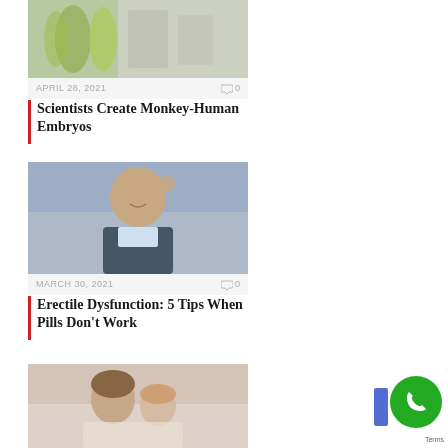[Figure (photo): Green liquid in glass containers/test tubes]
APRIL 28, 2021   💬 0
Scientists Create Monkey-Human Embryos
[Figure (photo): Smiling man with hand on back of head, city background]
MARCH 30, 2021   💬 0
Erectile Dysfunction: 5 Tips When Pills Don't Work
[Figure (photo): Couple sitting together looking at something, bedroom setting]